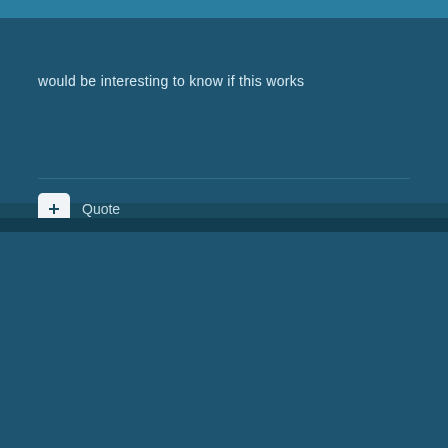would be interesting to know if this works
Quote
krelmatrix
Posted August 10, 2006
bubbles said:
would be interesting to know if this works
584251[/snapback]
Anybody know a US-based proxy I can go through?